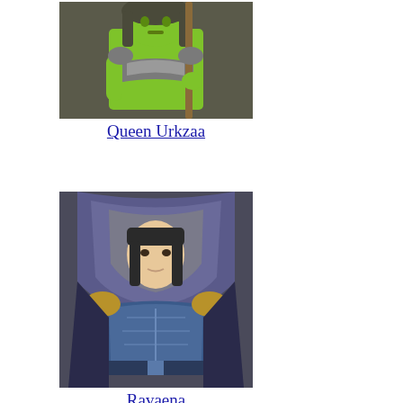[Figure (photo): Photo of a green-skinned orc queen figurine holding a staff, wearing silver armor, photographed against a dark background. This is Queen Urkzaa.]
Queen Urkzaa
[Figure (photo): Photo of a fantasy female figurine named Ravaena, wearing a purple/blue hood and blue armored chest piece with shoulder guards, photographed against a dark background.]
Ravaena